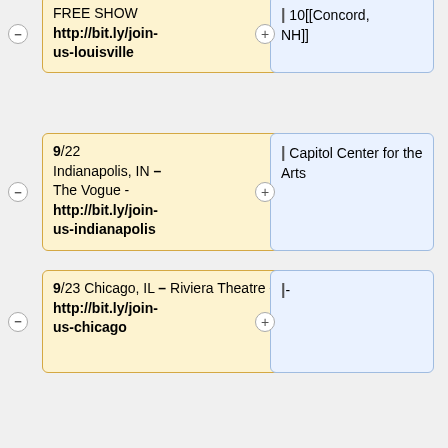| Event info | Details |
| --- | --- |
| FREE SHOW http://bit.ly/join-us-louisville | | 10[[Concord, NH]] |
| 9/22 Indianapolis, IN – The Vogue - http://bit.ly/join-us-indianapolis | | Capitol Center for the Arts |
| 9/23 Chicago, IL – Riviera Theatre - http://bit.ly/join-us-chicago | |- |
| 9/24 St. Louis, MO – The Pageant - http://bit.ly/join-us-st-louis | | 2011-09-13 |
| 9/25 Tulsa, OK – Cain's Ballroom TICKETS ON | | [[Ithaca, NY: 2011-09-12|Ithaca, NY]] |